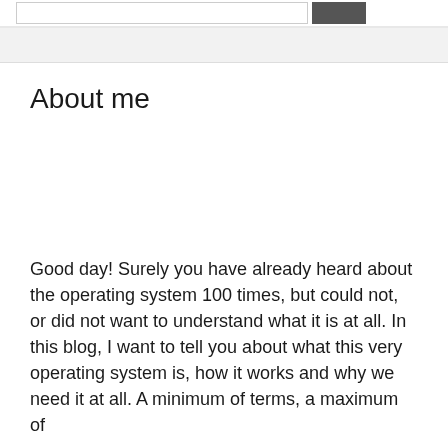[search bar with button]
About me
Good day! Surely you have already heard about the operating system 100 times, but could not, or did not want to understand what it is at all. In this blog, I want to tell you about what this very operating system is, how it works and why we need it at all. A minimum of terms, a maximum of understandability and...